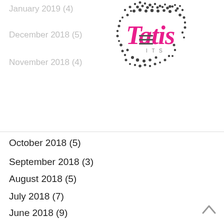January 2019 (4)
December 2018 (5)
November 2018 (4)
[Figure (logo): Tatis ITS logo with dotted pattern background and hamburger menu icon]
October 2018 (5)
September 2018 (3)
August 2018 (5)
July 2018 (7)
June 2018 (9)
May 2018 (3)
April 2018 (3)
March 2018 (7)